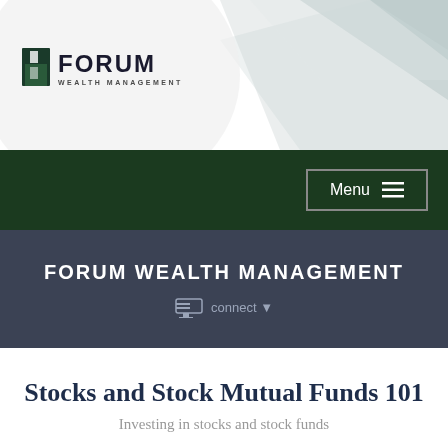[Figure (logo): Forum Wealth Management logo with geometric background pattern in header]
Menu ≡
FORUM WEALTH MANAGEMENT
connect ▼
Stocks and Stock Mutual Funds 101
Investing in stocks and stock funds